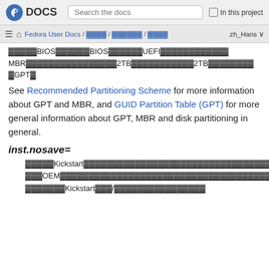Fedora DOCS | Search the docs | In this project
Fedora User Docs / 安装指南 / 安装启动选项 / 存储 zh_Hans
…BIOS…BIOS…UEFI…
MBR…2TB…2TB…
…GPT…
See Recommended Partitioning Scheme for more information about GPT and MBR, and GUID Partition Table (GPT) for more general information about GPT, MBR and disk partitioning in general.
inst.nosave=
…Kickstart…
…OEM…
…Kickstart…/…